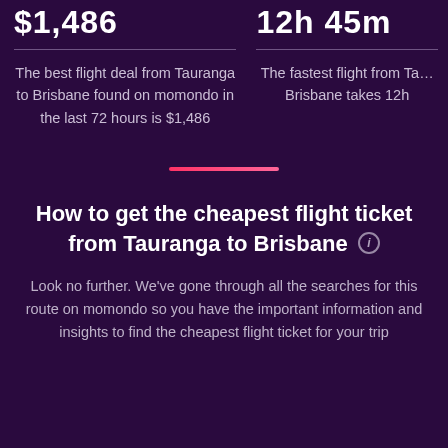$1,486
12h 45m
The best flight deal from Tauranga to Brisbane found on momondo in the last 72 hours is $1,486
The fastest flight from Tauranga to Brisbane takes 12h
How to get the cheapest flight ticket from Tauranga to Brisbane
Look no further. We've gone through all the searches for this route on momondo so you have the important information and insights to find the cheapest flight ticket for your trip